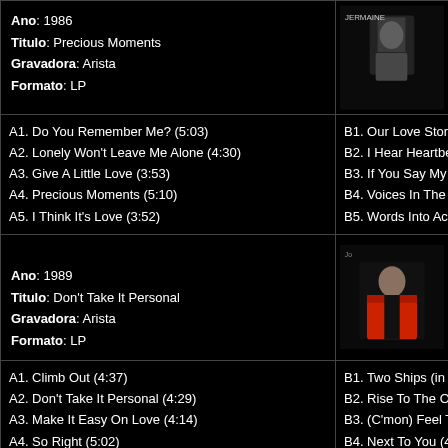Ano: 1986
Titulo: Precious Moments
Gravadora: Arista
Formato: LP
[Figure (photo): Album cover black and white with figure]
A1. Do You Remember Me? (5:03)
A2. Lonely Won't Leave Me Alone (4:30)
A3. Give A Little Love (3:53)
A4. Precious Moments (5:10)
A5. I Think It's Love (3:52)
B1. Our Love Story (4:31)
B2. I Hear Heartbeat (5:3..)
B3. If You Say My Eyes A...
B4. Voices In The Dark (4...
B5. Words Into Action (4:...
Ano: 1989
Titulo: Don't Take It Personal
Gravadora: Arista
Formato: LP
[Figure (photo): Album cover with man in red jacket]
A1. Climb Out (4:37)
A2. Don't Take It Personal (4:29)
A3. Make It Easy On Love (4:14)
A4. So Right (5:02)
A5. I'd Like To Get To Know You (4:39)
B1. Two Ships (in The Nig...
B2. Rise To The Occasion...
B3. (C'mon) Feel The Ne...
B4. Next To You (4:01)
B5. Don't Make Me Wait (...
[Figure (photo): Album cover small thumbnail at bottom right]